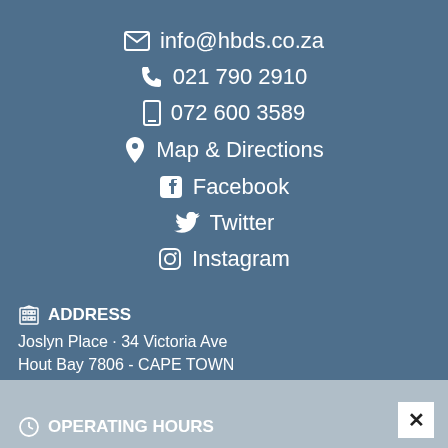✉ info@hbds.co.za
☎ 021 790 2910
☐ 072 600 3589
📍 Map & Directions
Facebook
Twitter
Instagram
ADDRESS
Joslyn Place · 34 Victoria Ave
Hout Bay 7806 - CAPE TOWN
OPERATING HOURS